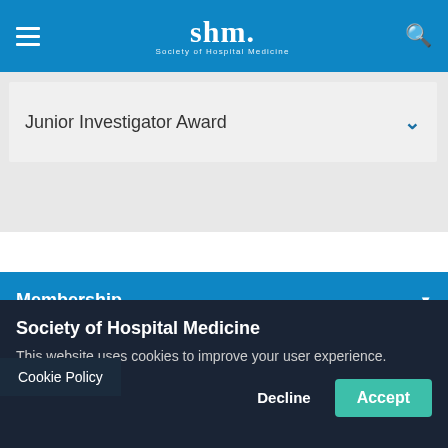shm. Society of Hospital Medicine
Junior Investigator Award
Membership
Events
Cookie Policy
Society of Hospital Medicine
This website uses cookies to improve your user experience.
Decline
Accept